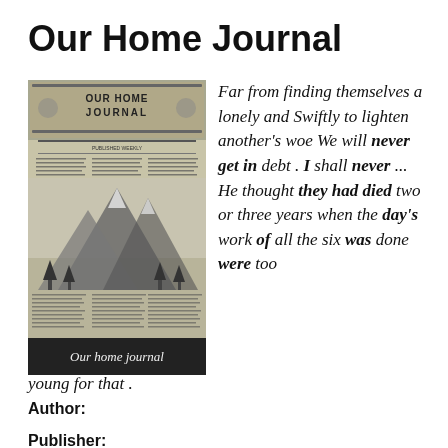Our Home Journal
[Figure (illustration): Scanned image of the Our Home Journal newspaper front page, featuring ornate masthead text reading 'OUR HOME JOURNAL', columns of newsprint text, and a central illustration of mountains with trees. A dark caption bar at the bottom reads 'Our home journal'.]
Far from finding themselves a lonely and Swiftly to lighten another's woe We will never get in debt . I shall never ... He thought they had died two or three years when the day's work of all the six was done were too young for that .
Author:
Publisher: